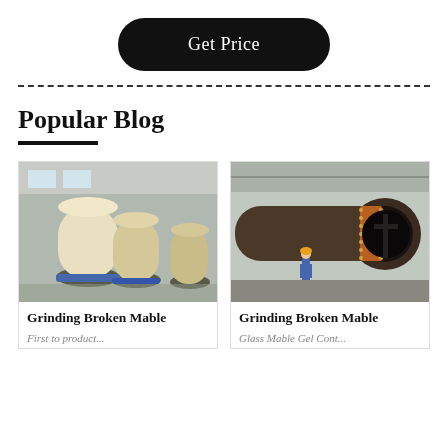Get Price
Popular Blog
[Figure (photo): Industrial grinding mills in a factory warehouse, large cylindrical machines with yellow casing]
Grinding Broken Mable
First to product...
[Figure (photo): Large industrial rotating kiln or drum being assembled in a factory, worker standing nearby for scale]
Grinding Broken Mable
Glass Mable Gel Cont...